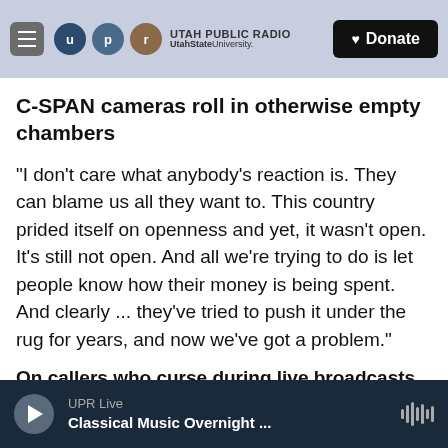UTAH PUBLIC RADIO — UtahStateUniversity. — Donate
C-SPAN cameras roll in otherwise empty chambers
"I don't care what anybody's reaction is. They can blame us all they want to. This country prided itself on openness and yet, it wasn't open. It's still not open. And all we're trying to do is let people know how their money is being spent. And clearly ... they've tried to push it under the rug for years, and now we've got a problem."
On callers who curse during live broadcasts
UPR Live — Classical Music Overnight ...